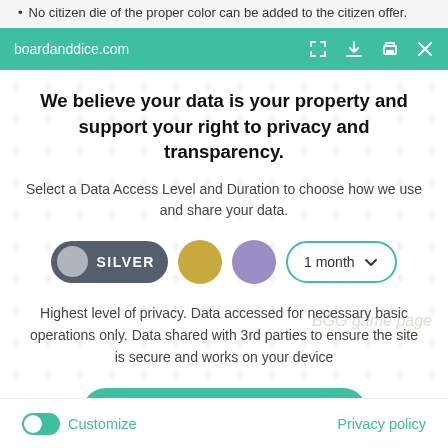No citizen die of the proper color can be added to the citizen offer.
boardanddice.com
We believe your data is your property and support your right to privacy and transparency.
Select a Data Access Level and Duration to choose how we use and share your data.
SILVER  1 month
Highest level of privacy. Data accessed for necessary basic operations only. Data shared with 3rd parties to ensure the site is secure and works on your device
Save my preferences
Customize
Privacy policy